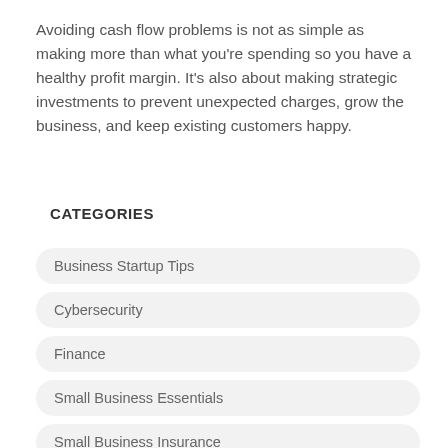Avoiding cash flow problems is not as simple as making more than what you're spending so you have a healthy profit margin. It's also about making strategic investments to prevent unexpected charges, grow the business, and keep existing customers happy.
CATEGORIES
Business Startup Tips
Cybersecurity
Finance
Small Business Essentials
Small Business Insurance